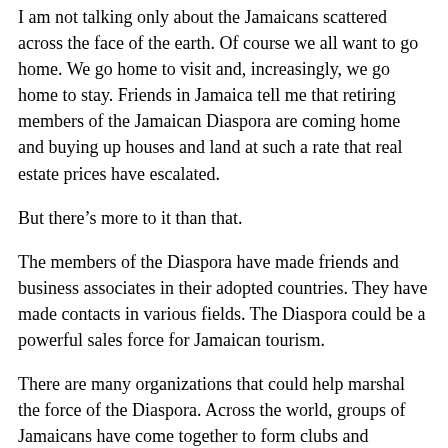I am not talking only about the Jamaicans scattered across the face of the earth. Of course we all want to go home. We go home to visit and, increasingly, we go home to stay. Friends in Jamaica tell me that retiring members of the Jamaican Diaspora are coming home and buying up houses and land at such a rate that real estate prices have escalated.
But there’s more to it than that.
The members of the Diaspora have made friends and business associates in their adopted countries. They have made contacts in various fields. The Diaspora could be a powerful sales force for Jamaican tourism.
There are many organizations that could help marshal the force of the Diaspora. Across the world, groups of Jamaicans have come together to form clubs and associations. The Jamaican American Club (which publishes this newsletter) is a case in point. And in some areas, Jamaican groups are joining with other Caribbean organizations for social and political strength.